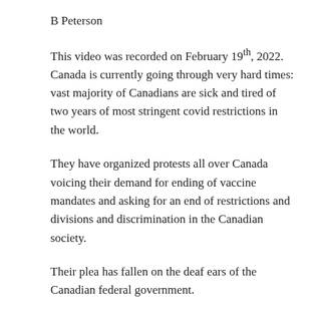B Peterson
This video was recorded on February 19th, 2022. Canada is currently going through very hard times: vast majority of Canadians are sick and tired of two years of most stringent covid restrictions in the world.
They have organized protests all over Canada voicing their demand for ending of vaccine mandates and asking for an end of restrictions and divisions and discrimination in the Canadian society.
Their plea has fallen on the deaf ears of the Canadian federal government.
Many Canadians believe that their leader is not having best interest of the Canadian people in his